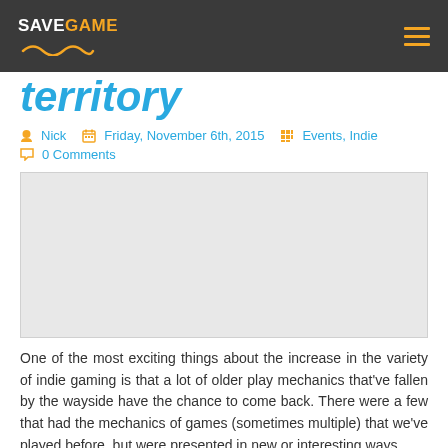SaveGame
territory
Nick  Friday, November 6th, 2015  Events, Indie  0 Comments
[Figure (photo): Large grey placeholder image for article]
One of the most exciting things about the increase in the variety of indie gaming is that a lot of older play mechanics that've fallen by the wayside have the chance to come back. There were a few that had the mechanics of games (sometimes multiple) that we've played before, but were presented in new or interesting ways.
Read more »